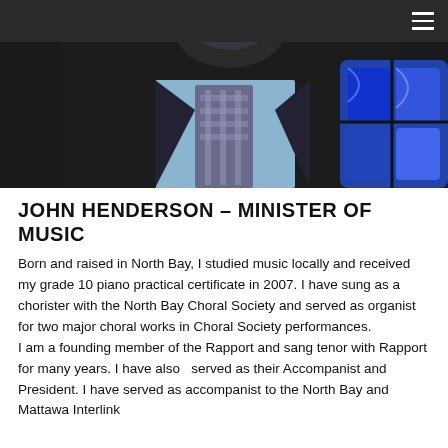[Figure (photo): Photo of John Henderson wearing a dark suit and plaid tie, with stained glass window visible on the right side. Dark background. Navigation bar at top with hamburger menu icon.]
JOHN HENDERSON – MINISTER OF MUSIC
Born and raised in North Bay, I studied music locally and received my grade 10 piano practical certificate in 2007. I have sung as a chorister with the North Bay Choral Society and served as organist for two major choral works in Choral Society performances.
I am a founding member of the Rapport and sang tenor with Rapport for many years. I have also  served as their Accompanist and President. I have served as accompanist to the North Bay and Mattawa Interlink